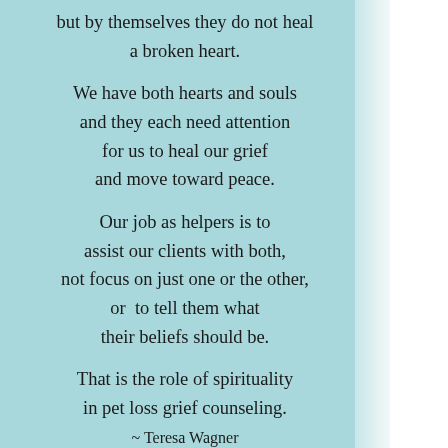but by themselves they do not heal a broken heart. We have both hearts and souls and they each need attention for us to heal our grief and move toward peace. Our job as helpers is to assist our clients with both, not focus on just one or the other, or to tell them what their beliefs should be. That is the role of spirituality in pet loss grief counseling.
~ Teresa Wagner